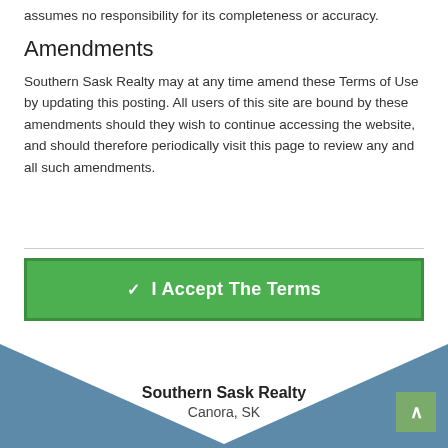assumes no responsibility for its completeness or accuracy.
Amendments
Southern Sask Realty may at any time amend these Terms of Use by updating this posting. All users of this site are bound by these amendments should they wish to continue accessing the website, and should therefore periodically visit this page to review any and all such amendments.
✓ I Accept The Terms
Southern Sask Realty
Canora, SK